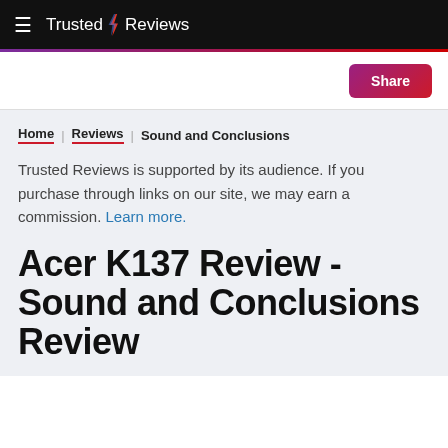Trusted Reviews
Share
Home | Reviews | Sound and Conclusions
Trusted Reviews is supported by its audience. If you purchase through links on our site, we may earn a commission. Learn more.
Acer K137 Review - Sound and Conclusions Review